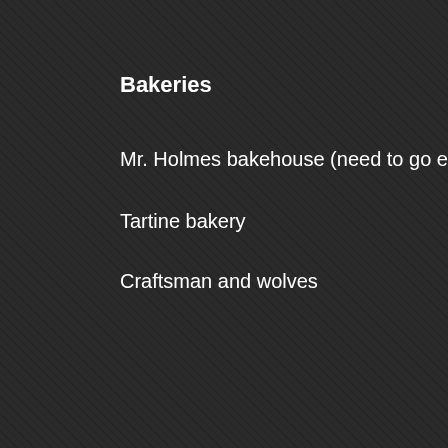Bakeries
Mr. Holmes bakehouse (need to go early for cr…
Tartine bakery
Craftsman and wolves
And that's what I did in San Francisco.
Contact us:
  Site Webmaster
  RHS'69 Info
R